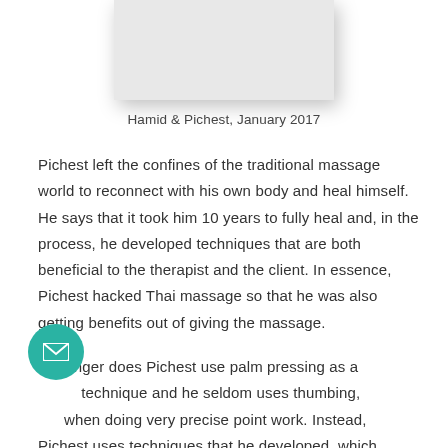[Figure (photo): Photo of Hamid and Pichest, January 2017]
Hamid & Pichest, January 2017
Pichest left the confines of the traditional massage world to reconnect with his own body and heal himself. He says that it took him 10 years to fully heal and, in the process, he developed techniques that are both beneficial to the therapist and the client. In essence, Pichest hacked Thai massage so that he was also getting benefits out of giving the massage.
No longer does Pichest use palm pressing as a technique and he seldom uses thumbing, except when doing very precise point work. Instead, Pichest uses techniques that he developed, which